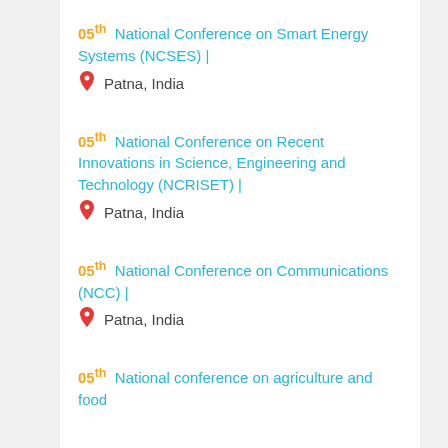05th National Conference on Smart Energy Systems (NCSES) | Patna, India
05th National Conference on Recent Innovations in Science, Engineering and Technology (NCRISET) | Patna, India
05th National Conference on Communications (NCC) | Patna, India
05th National conference on agriculture and food ...